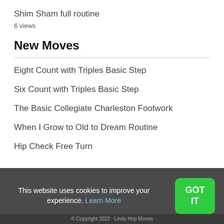Shim Sham full routine
6 views
New Moves
Eight Count with Triples Basic Step
Six Count with Triples Basic Step
The Basic Collegiate Charleston Footwork
When I Grow to Old to Dream Routine
Hip Check Free Turn
This website uses cookies to improve your experience. Learn More
© Copyright 2022 · Lindy Hop Moves